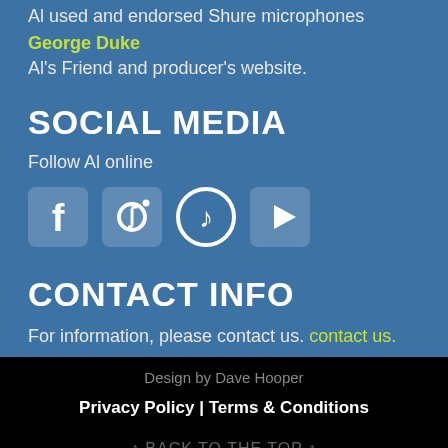Al used and endorsed Shure microphones
George Duke
Al's Friend and producer's website.
SOCIAL MEDIA
Follow Al online
[Figure (other): Social media icons: Facebook, Instagram, iTunes/Music, YouTube]
CONTACT INFO
For information, please contact us. contact us.
Design by Dave Hooper
Privacy Policy | Terms & Conditions
↑ BACK TO THE TOP ↑